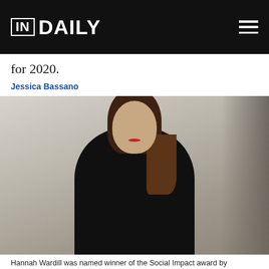IN DAILY
for 2020.
Jessica Bassano
[Figure (photo): Portrait photograph of Hannah Wardill, a woman with long dark auburn hair wearing a black top, against a light concrete wall background.]
Hannah Wardill was named winner of the Social Impact award by